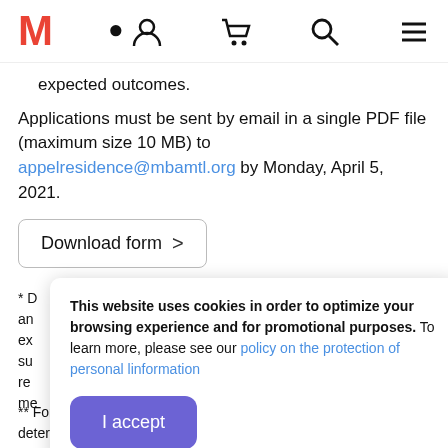M [logo] [account icon] [cart icon] [search icon] [menu icon]
expected outcomes.
Applications must be sent by email in a single PDF file (maximum size 10 MB) to appelresidence@mbamtl.org by Monday, April 5, 2021.
Download form >
* D[...] ee an[...] ex[...] su[...] re[...] me[...]
This website uses cookies in order to optimize your browsing experience and for promotional purposes. To learn more, please see our policy on the protection of personal linformation
I accept
** For more information on the definition of these terms, as determined by the Conseil des arts de Montréal, visit